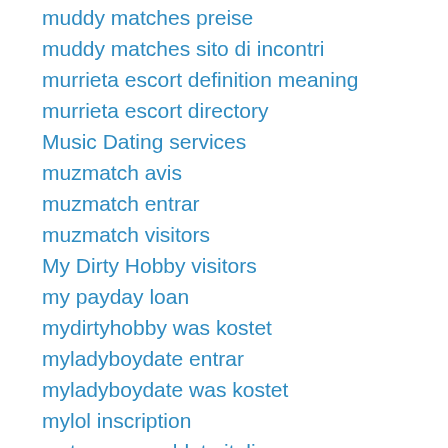muddy matches preise
muddy matches sito di incontri
murrieta escort definition meaning
murrieta escort directory
Music Dating services
muzmatch avis
muzmatch entrar
muzmatch visitors
My Dirty Hobby visitors
my payday loan
mydirtyhobby was kostet
myladyboydate entrar
myladyboydate was kostet
mylol inscription
mytranssexualdate italia